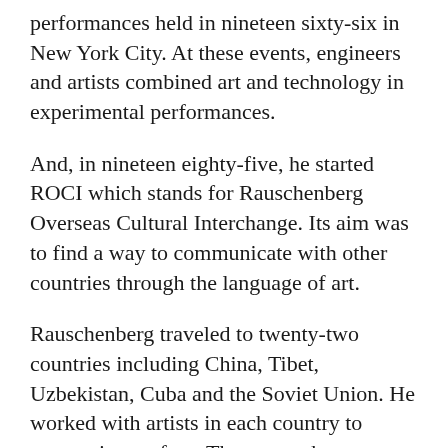performances held in nineteen sixty-six in New York City. At these events, engineers and artists combined art and technology in experimental performances.
And, in nineteen eighty-five, he started ROCI which stands for Rauschenberg Overseas Cultural Interchange. Its aim was to find a way to communicate with other countries through the language of art.
Rauschenberg traveled to twenty-two countries including China, Tibet, Uzbekistan, Cuba and the Soviet Union. He worked with artists in each country to create pieces of art. They were then exhibited in a museum in that country along with works made in other parts of the world. In nineteen ninety-one, the project ended at the National Gallery of Art in Washington, D.C. with an exhibit of art from each country.